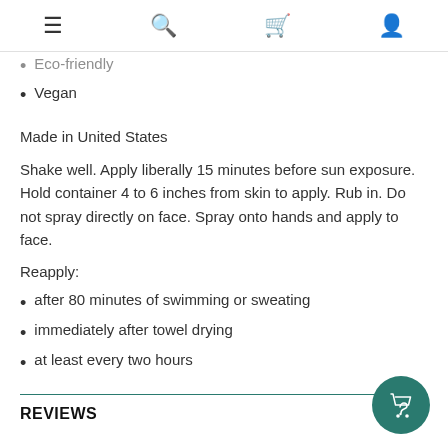≡  🔍  🛒  👤
Eco-friendly (partial/clipped)
Vegan
Made in United States
Shake well. Apply liberally 15 minutes before sun exposure. Hold container 4 to 6 inches from skin to apply. Rub in. Do not spray directly on face. Spray onto hands and apply to face.
Reapply:
after 80 minutes of swimming or sweating
immediately after towel drying
at least every two hours
REVIEWS